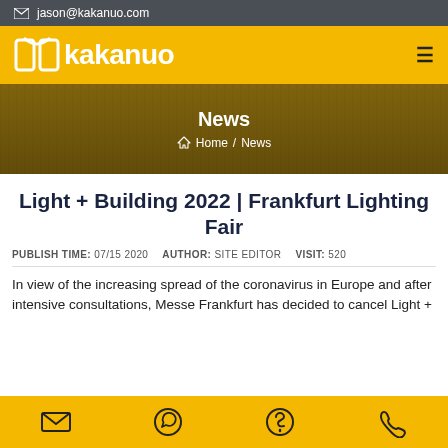jason@kakanuo.com
[Figure (logo): Kakanuo logo in white on yellow background with hamburger menu icon]
[Figure (photo): Hero banner with News title and Home / News breadcrumb over blurred laptop background]
Light + Building 2022 | Frankfurt Lighting Fair
PUBLISH TIME: 07/15 2020   AUTHOR: SITE EDITOR   VISIT: 520
In view of the increasing spread of the coronavirus in Europe and after intensive consultations, Messe Frankfurt has decided to cancel Light +
Email / WhatsApp / Skype / Phone icons